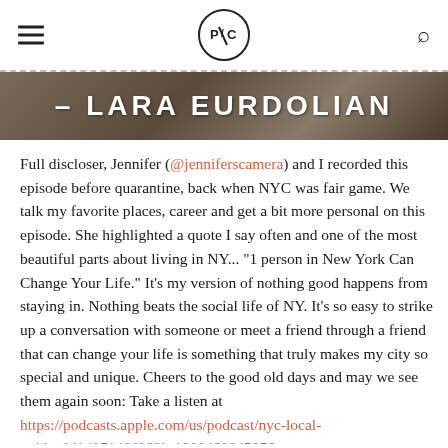P/C logo with hamburger menu and search icon
[Figure (photo): Banner image with textured stone background and overlaid text '- LARA EURDOLIAN' in large white uppercase letters]
Full discloser, Jennifer (@jenniferscamera) and I recorded this episode before quarantine, back when NYC was fair game. We talk my favorite places, career and get a bit more personal on this episode. She highlighted a quote I say often and one of the most beautiful parts about living in NY... "1 person in New York Can Change Your Life." It's my version of nothing good happens from staying in. Nothing beats the social life of NY. It's so easy to strike up a conversation with someone or meet a friend through a friend that can change your life is something that truly makes my city so special and unique. Cheers to the good old days and may we see them again soon: Take a listen at https://podcasts.apple.com/us/podcast/nyc-local-guides/id1497140823?i=1000468945876